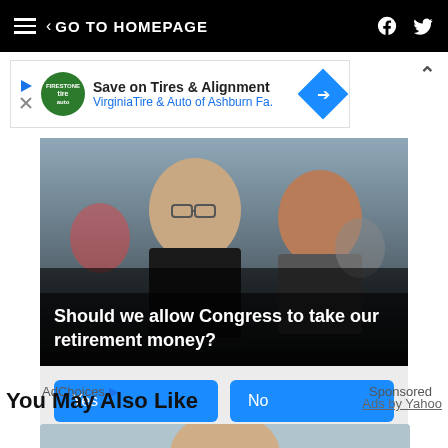GO TO HOMEPAGE
[Figure (infographic): Advertisement banner: Save on Tires & Alignment - Virginia Tire & Auto of Ashburn Fa.]
[Figure (photo): Photo of two people with overlaid poll question: Should we allow Congress to take our retirement money? With Yes, No, I don't know buttons and 5,156 Votes. Sponsored Ad.]
AdChoices ▷  Sponsored
You May Also Like
Ads by Yahoo
[Figure (photo): Bottom partial image thumbnail]